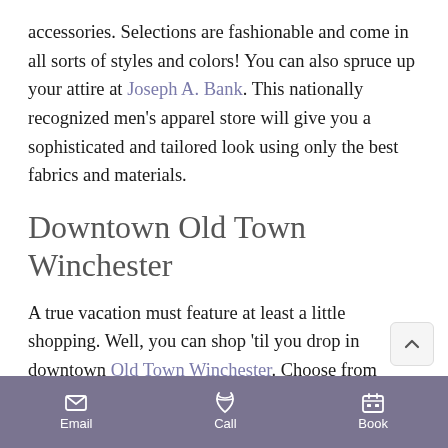accessories. Selections are fashionable and come in all sorts of styles and colors! You can also spruce up your attire at Joseph A. Bank. This nationally recognized men's apparel store will give you a sophisticated and tailored look using only the best fabrics and materials.
Downtown Old Town Winchester
A true vacation must feature at least a little shopping. Well, you can shop 'til you drop in downtown Old Town Winchester. Choose from apparel, home furnishings, jewelry, music, boutiques, antiques, and more. To treat yourself to a vacation outfit, we recommend Bell's Men's & Ladies' Fine Clothing. Here, you will see some creative and unique outfits that might just call your name. Silver Clou...
Email   Call   Book